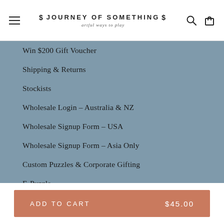JOURNEY OF SOMETHING | artful ways to play
Win $200 Gift Voucher
Shipping & Returns
Stockists
Wholesale Login – Australia & NZ
Wholesale Signup Form – USA
Wholesale Signup Form – Asia Only
Custom Puzzles & Corporate Gifting
E-Puzzle
Privacy Policy
Terms & Conditions
ADD TO CART $45.00